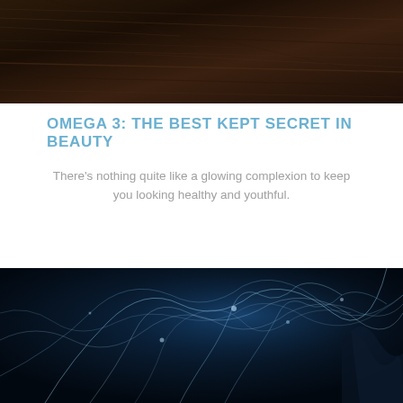[Figure (photo): Close-up photo of dark brown hair texture at the top of the page]
OMEGA 3: THE BEST KEPT SECRET IN BEAUTY
There's nothing quite like a glowing complexion to keep you looking healthy and youthful.
[Figure (photo): Dark blue underwater or bioluminescent jellyfish/neural network photograph with glowing white tendrils, containing the text 'THE SKIN INVESTMENT CLINIC' overlaid in white uppercase letters]
THE SKIN INVESTMENT CLINIC